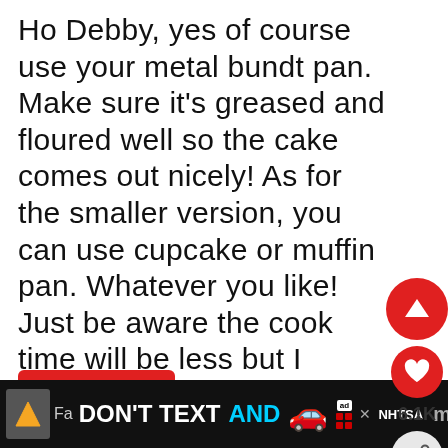Ho Debby, yes of course use your metal bundt pan. Make sure it's greased and floured well so the cake comes out nicely! As for the smaller version, you can use cupcake or muffin pan. Whatever you like! Just be aware the cook time will be less but I expect you know that anywa
[Figure (screenshot): Red reply button with arrow icon and text REPLY]
[Figure (screenshot): Social share action panel with up arrow, heart, 6.1K count, and share icon]
Donna says:
July 3rd, 2018 at 6:07 pm
[Figure (screenshot): What's Next panel with chocolate cookie image and text: Nanny's Chocolate...]
[Figure (screenshot): Ad banner: DON'T TEXT AND [car emoji] NHTSA advertisement]